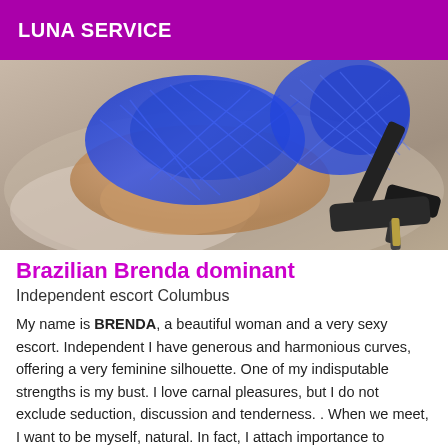LUNA SERVICE
[Figure (photo): A person wearing a blue lace/mesh bodystocking, posing on a bed with high-heeled shoes visible in the background.]
Brazilian Brenda dominant
Independent escort Columbus
My name is BRENDA, a beautiful woman and a very sexy escort. Independent I have generous and harmonious curves, offering a very feminine silhouette. One of my indisputable strengths is my bust. I love carnal pleasures, but I do not exclude seduction, discussion and tenderness. . When we meet, I want to be myself, natural. In fact, I attach importance to socialization, thanks to which the exchange will be